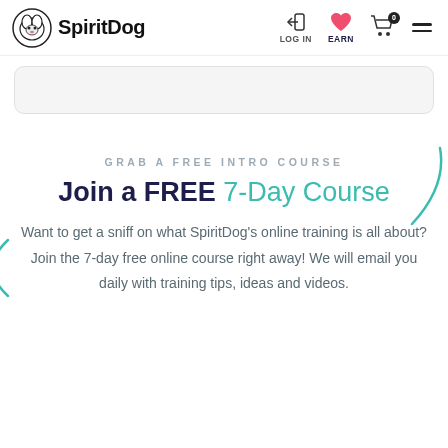SpiritDog — LOG IN | EARN | Cart | Menu
GRAB A FREE INTRO COURSE
Join a FREE 7-Day Course
Want to get a sniff on what SpiritDog's online training is all about? Join the 7-day free online course right away! We will email you daily with training tips, ideas and videos.